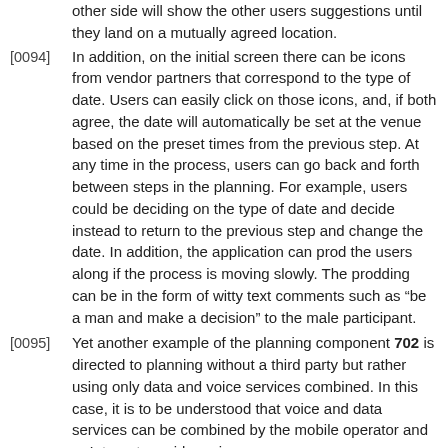other side will show the other users suggestions until they land on a mutually agreed location.
[0094] In addition, on the initial screen there can be icons from vendor partners that correspond to the type of date. Users can easily click on those icons, and, if both agree, the date will automatically be set at the venue based on the preset times from the previous step. At any time in the process, users can go back and forth between steps in the planning. For example, users could be deciding on the type of date and decide instead to return to the previous step and change the date. In addition, the application can prod the users along if the process is moving slowly. The prodding can be in the form of witty text comments such as “be a man and make a decision” to the male participant.
[0095] Yet another example of the planning component 702 is directed to planning without a third party but rather using only data and voice services combined. In this case, it is to be understood that voice and data services can be combined by the mobile operator and or Internet provider using